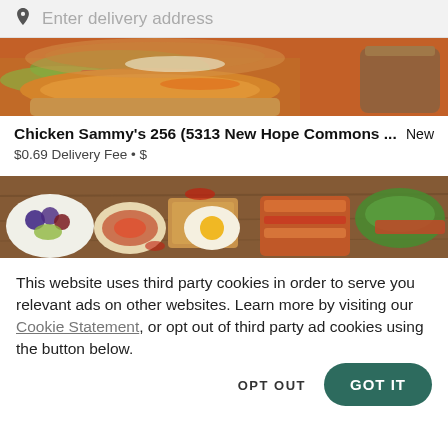Enter delivery address
[Figure (photo): Close-up photo of fried chicken sandwich with lettuce and tomato in a tray, with a cup in the background]
Chicken Sammy's 256 (5313 New Hope Commons ...   New
$0.69 Delivery Fee • $
[Figure (photo): Overhead flat-lay photo of various breakfast and brunch foods including fruit bowl, egg on toast, bacon sandwich, and salsa]
This website uses third party cookies in order to serve you relevant ads on other websites. Learn more by visiting our Cookie Statement, or opt out of third party ad cookies using the button below.
OPT OUT
GOT IT